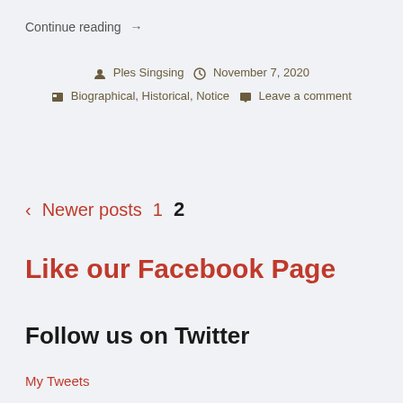Continue reading →
Ples Singsing  November 7, 2020
Biographical, Historical, Notice  Leave a comment
‹ Newer posts  1  2
Like our Facebook Page
Follow us on Twitter
My Tweets